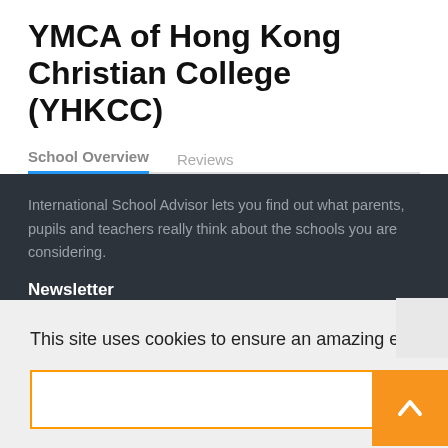YMCA of Hong Kong Christian College (YHKCC)
School Overview    Reviews
International School Advisor lets you find out what parents, pupils and teachers really think about the schools you are considering.
Newsletter
This site uses cookies to ensure an amazing experience!  Learn more
Got it!